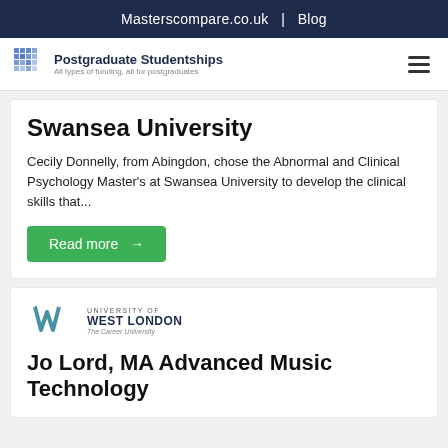Masterscompare.co.uk  |  Blog
[Figure (logo): Postgraduate Studentships logo with grid icon, tagline: All types of funding, all for postgraduates]
Swansea University
Cecily Donnelly, from Abingdon, chose the Abnormal and Clinical Psychology Master's at Swansea University to develop the clinical skills that...
Read more →
[Figure (logo): University of West London - The Career University logo]
Jo Lord, MA Advanced Music Technology